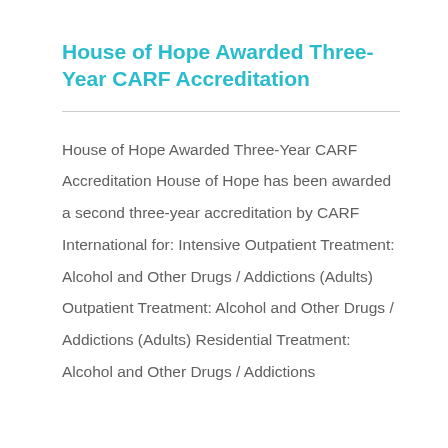House of Hope Awarded Three-Year CARF Accreditation
House of Hope Awarded Three-Year CARF Accreditation House of Hope has been awarded a second three-year accreditation by CARF International for: Intensive Outpatient Treatment: Alcohol and Other Drugs / Addictions (Adults) Outpatient Treatment: Alcohol and Other Drugs / Addictions (Adults) Residential Treatment: Alcohol and Other Drugs / Addictions